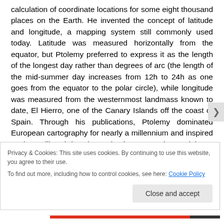calculation of coordinate locations for some eight thousand places on the Earth. He invented the concept of latitude and longitude, a mapping system still commonly used today. Latitude was measured horizontally from the equator, but Ptolemy preferred to express it as the length of the longest day rather than degrees of arc (the length of the mid-summer day increases from 12h to 24h as one goes from the equator to the polar circle), while longitude was measured from the westernmost landmass known to date, El Hierro, one of the Canary Islands off the coast of Spain. Through his publications, Ptolemy dominated European cartography for nearly a millennium and inspired explorers like Christopher Columbus to test the spatial
Privacy & Cookies: This site uses cookies. By continuing to use this website, you agree to their use.
To find out more, including how to control cookies, see here: Cookie Policy
Close and accept